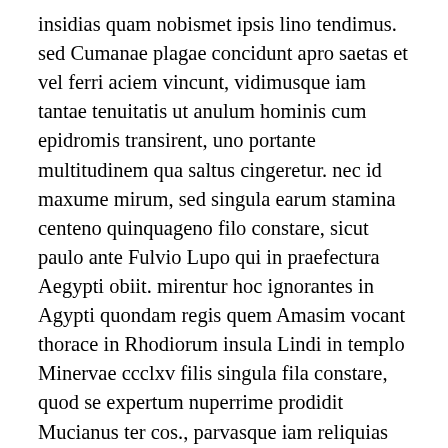insidias quam nobismet ipsis lino tendimus. sed Cumanae plagae concidunt apro saetas et vel ferri aciem vincunt, vidimusque iam tantae tenuitatis ut anulum hominis cum epidromis transirent, uno portante multitudinem qua saltus cingeretur. nec id maxume mirum, sed singula earum stamina centeno quinquageno filo constare, sicut paulo ante Fulvio Lupo qui in praefectura Aegypti obiit. mirentur hoc ignorantes in Agypti quondam regis quem Amasim vocant thorace in Rhodiorum insula Lindi in templo Minervae ccclxv filis singula fila constare, quod se expertum nuperrime prodidit Mucianus ter cos., parvasque iam reliquias eius superesse hoc1 experientium iniuria. Italia et Paelignis etiamnum linis honorem habet, sed fullonum tantum in usu; nullum est candidius lanaeve similius, sicut in culcitis praecipuam gloriam Cadurci obtinent: Galliarum hoc et tomenta pariter inventum. Italiae quidem mos etiam nunc durat in appellatione stramenti. Aegyptio lino minimum firmitatis, plurimum lucri, quattuor ibi genera: